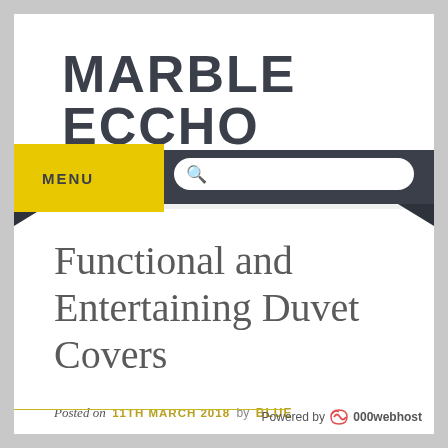MARBLE ECCHO
MENU
Functional and Entertaining Duvet Covers
Posted on 11TH MARCH 2018 by BLUE
Powered by 000webhost